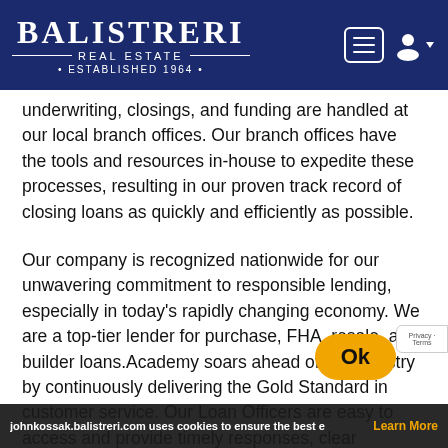BALISTRERI REAL ESTATE • ESTABLISHED 1964 •
underwriting, closings, and funding are handled at our local branch offices. Our branch offices have the tools and resources in-house to expedite these processes, resulting in our proven track record of closing loans as quickly and efficiently as possible.
Our company is recognized nationwide for our unwavering commitment to responsible lending, especially in today's rapidly changing economy. We are a top-tier lender for purchase, FHA, resale, and builder loans.Academy soars ahead of the industry by continuously delivering the Gold Standard in customer service. Our Loan Officers are easy to access and provide timely responses, clear communication, and absolute follow-through. Our long tradition of customer satisfaction with our Realtor, Builder, and other
johnkossak.balistreri.com uses cookies to ensure the best e
Learn More
Ok